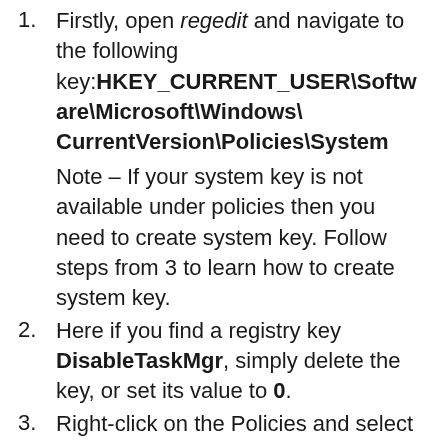Firstly, open regedit and navigate to the following key: HKEY_CURRENT_USER\Software\Microsoft\Windows\CurrentVersion\Policies\System Note – If your system key is not available under policies then you need to create system key. Follow steps from 3 to learn how to create system key.
Here if you find a registry key DisableTaskMgr, simply delete the key, or set its value to 0.
Right-click on the Policies and select